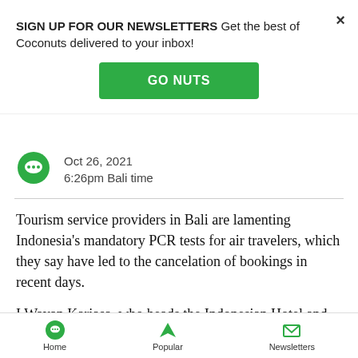SIGN UP FOR OUR NEWSLETTERS Get the best of Coconuts delivered to your inbox!
GO NUTS
Oct 26, 2021
6:26pm Bali time
Tourism service providers in Bali are lamenting Indonesia's mandatory PCR tests for air travelers, which they say have led to the cancelation of bookings in recent days.
I Wayan Kariasa, who heads the Indonesian Hotel and Restaurant Association (PHRI) chapter in Karangasem
Home   Popular   Newsletters